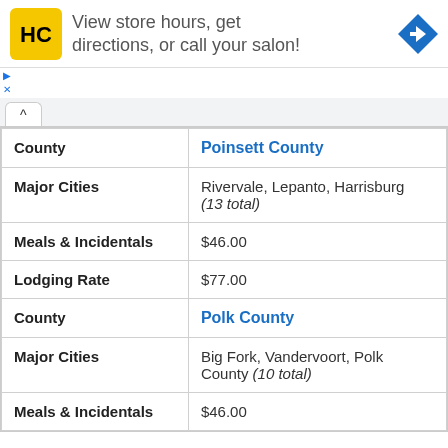[Figure (infographic): Advertisement banner: HC logo with text 'View store hours, get directions, or call your salon!' and a blue navigation arrow icon]
| Field | Value |
| --- | --- |
| County | Poinsett County |
| Major Cities | Rivervale, Lepanto, Harrisburg (13 total) |
| Meals & Incidentals | $46.00 |
| Lodging Rate | $77.00 |
| County | Polk County |
| Major Cities | Big Fork, Vandervoort, Polk County (10 total) |
| Meals & Incidentals | $46.00 |